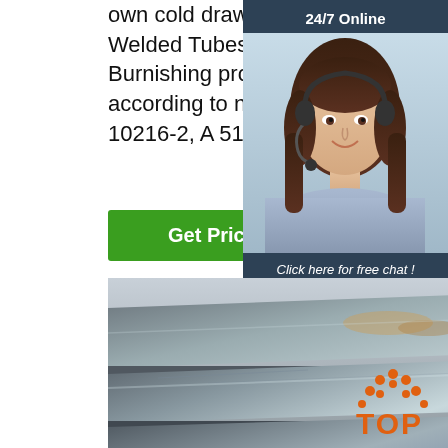own cold drawn seamless tube (CDS tube)/Steel Cold Drawn Welded Tubes (CDW tubes), by honing process or Skiving & Roller Burnishing process. Mean while the tube is usually produced according to norms as ASTM A513, DIN DIN 1630, DIN 1629, EN 10216-2, A 519 customer's request.
[Figure (other): Green 'Get Price' button]
[Figure (other): 24/7 Online chat widget with female customer service agent photo, 'Click here for free chat!' text, and orange QUOTATION button]
[Figure (photo): Steel plates stacked, industrial setting, gray metallic surface]
[Figure (logo): TOP logo with orange dots arranged in arch pattern above the text TOP]